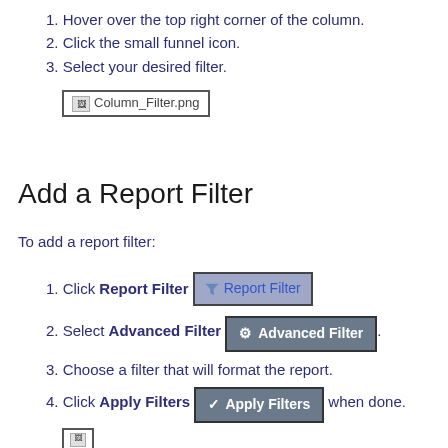1. Hover over the top right corner of the column.
2. Click the small funnel icon.
3. Select your desired filter.
[Figure (screenshot): Column_Filter.png image placeholder with broken image icon]
Add a Report Filter
To add a report filter:
1. Click Report Filter [Report Filter button shown]
2. Select Advanced Filter [Advanced Filter button shown].
3. Choose a filter that will format the report.
4. Click Apply Filters [Apply Filters button shown] when done.
[Figure (screenshot): Partial image at bottom of page, appears to be another filter-related screenshot]